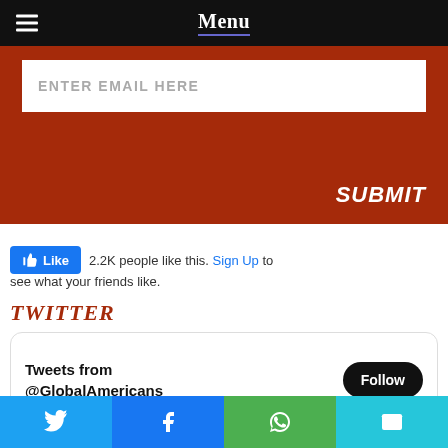Menu
ENTER EMAIL HERE
SUBMIT
2.2K people like this. Sign Up to see what your friends like.
TWITTER
[Figure (screenshot): Twitter follow widget showing 'Tweets from @GlobalAmericans' with a Follow button]
[Figure (infographic): Bottom social share bar with Twitter, Facebook, WhatsApp, and Email buttons]